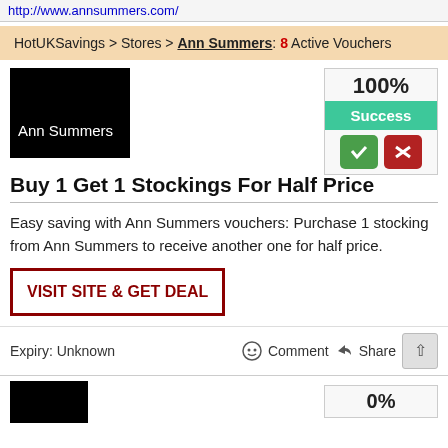http://www.annsummers.com/
HotUKSavings > Stores > Ann Summers: 8 Active Vouchers
[Figure (logo): Ann Summers logo — white text on black background]
100%
Success
Buy 1 Get 1 Stockings For Half Price
Easy saving with Ann Summers vouchers: Purchase 1 stocking from Ann Summers to receive another one for half price.
VISIT SITE & GET DEAL
Expiry: Unknown
Comment  Share
[Figure (logo): Second voucher logo — black box]
0%